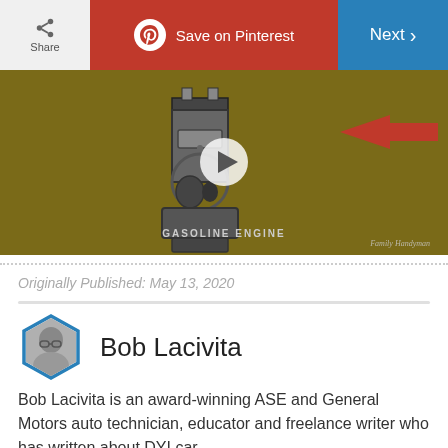Share | Save on Pinterest | Next
[Figure (screenshot): Video thumbnail showing a gasoline engine diagram animation with a play button overlay, a red arrow pointing left, and the label 'GASOLINE ENGINE' at the bottom. Watermark reads 'Family Handyman'.]
Originally Published: May 13, 2020
Bob Lacivita
Bob Lacivita is an award-winning ASE and General Motors auto technician, educator and freelance writer who has written about DYI car